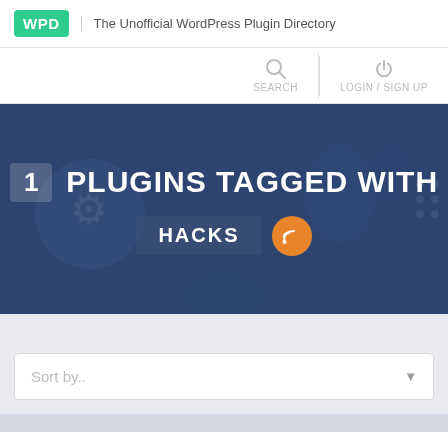WPD  The Unofficial WordPress Plugin Directory
[Figure (screenshot): Navigation bar with SEARCH and LOGIN / SIGN UP icons]
[Figure (infographic): Dark blue hero banner showing '1 PLUGINS TAGGED WITH HACKS' with RSS icon]
Sort by..